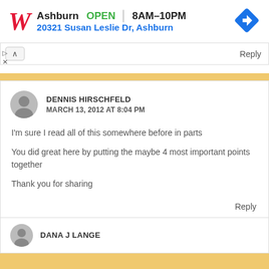[Figure (infographic): Walgreens advertisement banner showing logo, Ashburn location status OPEN 8AM-10PM, address 20321 Susan Leslie Dr Ashburn, and a blue diamond navigation arrow icon]
Reply
DENNIS HIRSCHFELD
MARCH 13, 2012 AT 8:04 PM
I'm sure I read all of this somewhere before in parts
You did great here by putting the maybe 4 most important points together
Thank you for sharing
Reply
DANA J LANGE